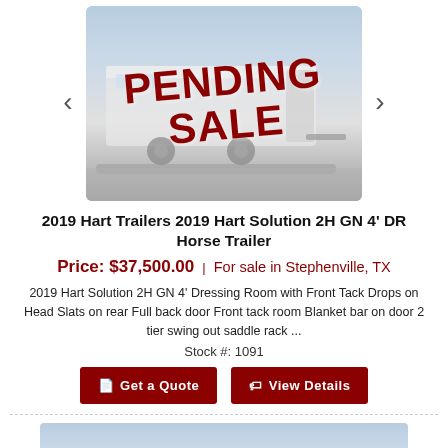[Figure (photo): Horse trailer photo with PENDING SALE overlay text in dark red on a grey/faded trailer image]
2019 Hart Trailers 2019 Hart Solution 2H GN 4' DR Horse Trailer
Price: $37,500.00 | For sale in Stephenville, TX
2019 Hart Solution 2H GN 4' Dressing Room with Front Tack Drops on Head Slats on rear Full back door Front tack room Blanket bar on door 2 tier swing out saddle rack ...
Stock #: 1091
Get a Quote
View Details